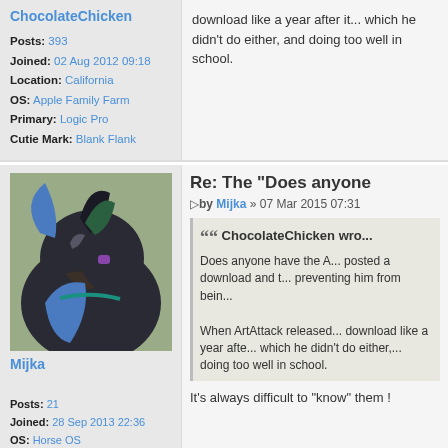ChocolateChicken
Posts: 393
Joined: 02 Aug 2012 09:18
Location: California
OS: Apple Family Farm
Primary: Logic Pro
Cutie Mark: Blank Flank
download like a year after it... which he didn't do either, and doing too well in school.
[Figure (photo): Avatar image of user Mijka showing a dark dragon/griffon character with blue and purple accents against a green background]
Mijka
Posts: 21
Joined: 28 Sep 2013 22:36
OS: Horse OS
Primary: Just horrible Audacity for podcasts.
Cutie Mark: No CM, i'm a griffon, silly !
Re: The "Does anyone
by Mijka » 07 Mar 2015 07:31
ChocolateChicken wro...
Does anyone have the A... posted a download and t... preventing him from bein...
When ArtAttack released... download like a year afte... which he didn't do either,... doing too well in school.
It's always difficult to "know" them !